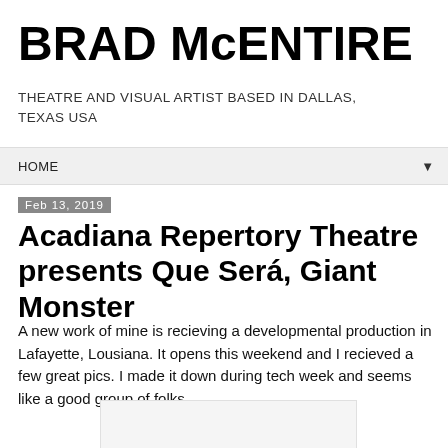BRAD McENTIRE
THEATRE AND VISUAL ARTIST BASED IN DALLAS, TEXAS USA
HOME ▼
Feb 13, 2019
Acadiana Repertory Theatre presents Que Será, Giant Monster
A new work of mine is recieving a developmental production in Lafayette, Lousiana. It opens this weekend and I recieved a few great pics. I made it down during tech week and seems like a good group of folks.
[Figure (photo): Partially visible image at bottom of page]